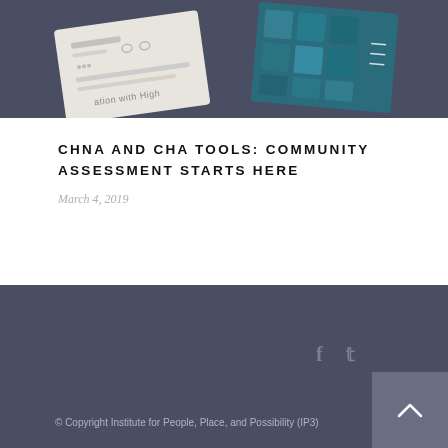[Figure (photo): Top banner image showing tablets/cards on a dark blue-gray background with text 'ation with High' visible on one card and a teal/blue pattern on another]
CHNA AND CHA TOOLS: COMMUNITY ASSESSMENT STARTS HERE
March 4, 2019
© Copyright Institute for People, Place, and Possibility (IP3)